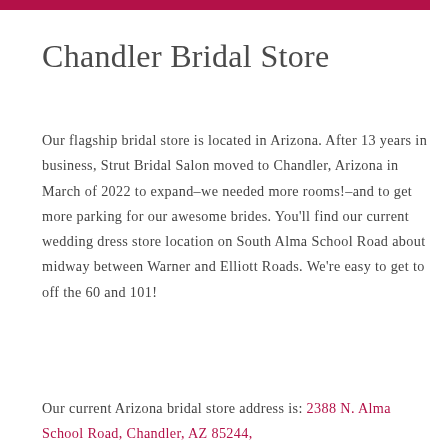Chandler Bridal Store
Our flagship bridal store is located in Arizona. After 13 years in business, Strut Bridal Salon moved to Chandler, Arizona in March of 2022 to expand–we needed more rooms!–and to get more parking for our awesome brides. You'll find our current wedding dress store location on South Alma School Road about midway between Warner and Elliott Roads. We're easy to get to off the 60 and 101!
Our current Arizona bridal store address is: 2388 N. Alma School Road, Chandler, AZ 85244,